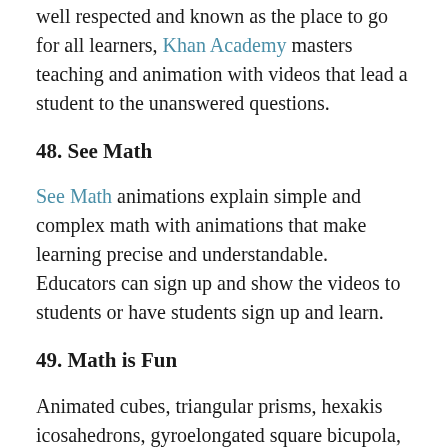well respected and known as the place to go for all learners, Khan Academy masters teaching and animation with videos that lead a student to the unanswered questions.
48. See Math
See Math animations explain simple and complex math with animations that make learning precise and understandable. Educators can sign up and show the videos to students or have students sign up and learn.
49. Math is Fun
Animated cubes, triangular prisms, hexakis icosahedrons, gyroelongated square bicupola, or hebesphenomegacorona among other three-dimensional